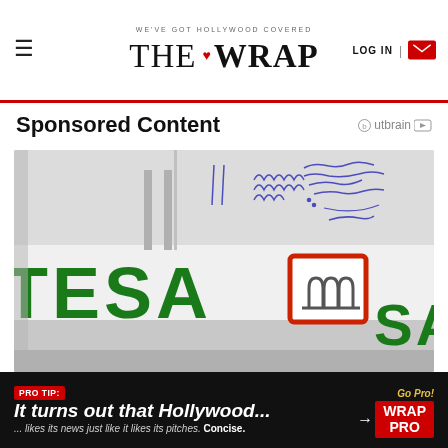WE'VE GOT HOLLYWOOD COVERED | THE WRAP | LOG IN
Sponsored Content
[Figure (photo): Photograph of a Intesa Sanpaolo bank branch exterior showing green lettering TESA and SANPAOLO with red-framed logo, and handwritten notes visible above]
PRO TIP: It turns out that Hollywood... ... likes its news just like it likes its pitches. Concise. Go Pro! WRAP PRO